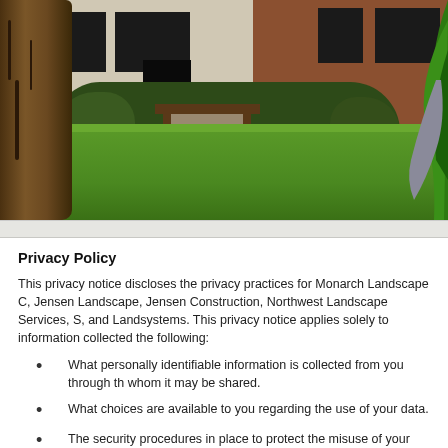[Figure (photo): Exterior photo of a commercial building with landscaped lawn, shrubs, brick and cream walls, a bench near an entrance, a large tree on the left, and a green sculptural element on the right.]
Privacy Policy
This privacy notice discloses the privacy practices for Monarch Landscape C, Jensen Landscape, Jensen Construction, Northwest Landscape Services, S, and Landsystems. This privacy notice applies solely to information collected the following:
What personally identifiable information is collected from you through th whom it may be shared.
What choices are available to you regarding the use of your data.
The security procedures in place to protect the misuse of your informatio